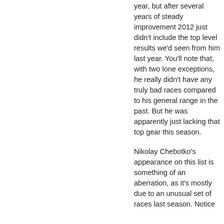year, but after several years of steady improvement 2012 just didn't include the top level results we'd seen from him last year. You'll note that, with two lone exceptions, he really didn't have any truly bad races compared to his general range in the past. But he was apparently just lacking that top gear this season.
Nikolay Chebotko's appearance on this list is something of an aberration, as it's mostly due to an unusual set of races last season. Notice